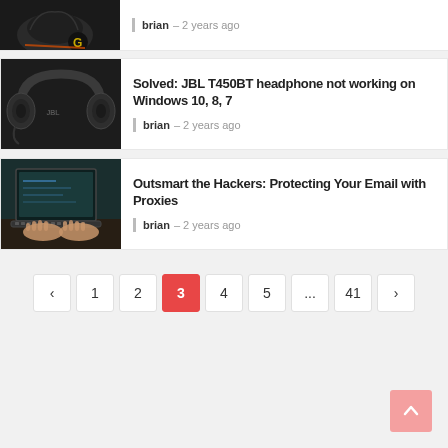[Figure (photo): Partial view of a gaming mouse (Logitech) on dark background, partially cropped]
brian – 2 years ago
[Figure (photo): JBL T450BT headphones on dark background]
Solved: JBL T450BT headphone not working on Windows 10, 8, 7
brian – 2 years ago
[Figure (photo): Person typing on a laptop keyboard, close-up shot]
Outsmart the Hackers: Protecting Your Email with Proxies
brian – 2 years ago
< 1 2 3 4 5 ... 41 >